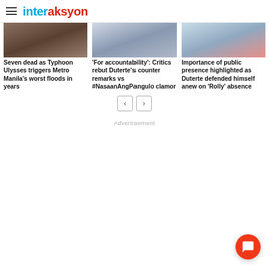interaksyon
[Figure (photo): Three news article thumbnail images in a row: left shows flood/water damage, center shows a man in a suit, right shows a person at a desk]
Seven dead as Typhoon Ulysses triggers Metro Manila's worst floods in years
'For accountability': Critics rebut Duterte's counter remarks vs #NasaanAngPangulo clamor
Importance of public presence highlighted as Duterte defended himself anew on 'Rolly' absence
Advertisement